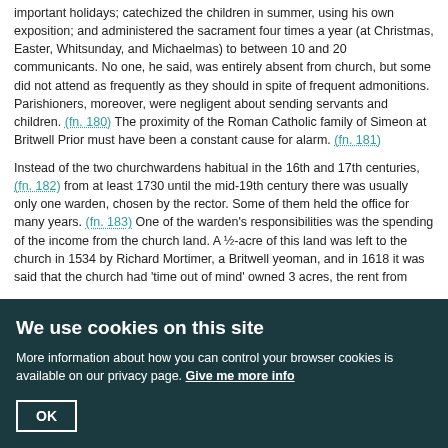important holidays; catechized the children in summer, using his own exposition; and administered the sacrament four times a year (at Christmas, Easter, Whitsunday, and Michaelmas) to between 10 and 20 communicants. No one, he said, was entirely absent from church, but some did not attend as frequently as they should in spite of frequent admonitions. Parishioners, moreover, were negligent about sending servants and children. (fn. 180) The proximity of the Roman Catholic family of Simeon at Britwell Prior must have been a constant cause for alarm. (fn. 181)
Instead of the two churchwardens habitual in the 16th and 17th centuries, (fn. 182) from at least 1730 until the mid-19th century there was usually only one warden, chosen by the rector. Some of them held the office for many years. (fn. 183) One of the warden's responsibilities was the spending of the income from the church land. A ½-acre of this land was left to the church in 1534 by Richard Mortimer, a Britwell yeoman, and in 1618 it was said that the church had 'time out of mind' owned 3 acres, the rent from which was used for repairs. (fn. 184) In 1771 this land was let to the churchwarden for 15s. a year; in the 1820s it produced £1 11s. 6d. a year, the same amount as in 1939. (fn. 185) In 1939 the church also owned the churchacre, worth 10s. a year, which had originally been given for the upkeep of the chapel of Britwell Prior. (fn.
We use cookies on this site
More information about how you can control your browser cookies is available on our privacy page. Give me more info
OK